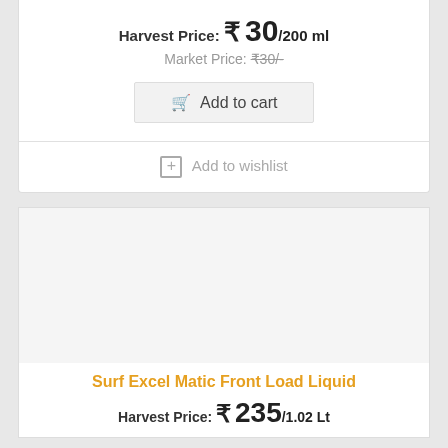Harvest Price: ₹ 30/200 ml
Market Price: ₹30/-
Add to cart
+ Add to wishlist
Surf Excel Matic Front Load Liquid
Harvest Price: ₹ 235/1.02 Lt